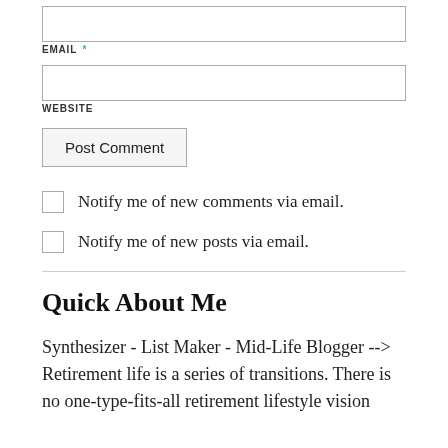EMAIL *
WEBSITE
Post Comment
Notify me of new comments via email.
Notify me of new posts via email.
Quick About Me
Synthesizer - List Maker - Mid-Life Blogger --> Retirement life is a series of transitions. There is no one-type-fits-all retirement lifestyle vision